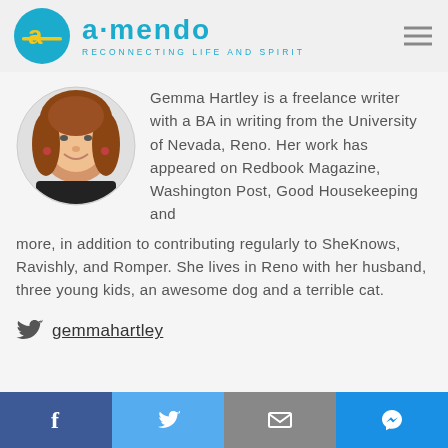[Figure (logo): Amendo logo: teal circle with yellow 'a' and dash icon, teal 'amendo' text with tagline 'RECONNECTING LIFE AND SPIRIT']
[Figure (photo): Circular headshot of Gemma Hartley, a young woman with reddish-brown hair, smiling, wearing a black top]
Gemma Hartley is a freelance writer with a BA in writing from the University of Nevada, Reno. Her work has appeared on Redbook Magazine, Washington Post, Good Housekeeping and more, in addition to contributing regularly to SheKnows, Ravishly, and Romper. She lives in Reno with her husband, three young kids, an awesome dog and a terrible cat.
gemmahartley
[Figure (infographic): Share bar with four buttons: Facebook (dark blue, f icon), Twitter (light blue, bird icon), Email (grey, envelope icon), Messenger (blue, message icon)]